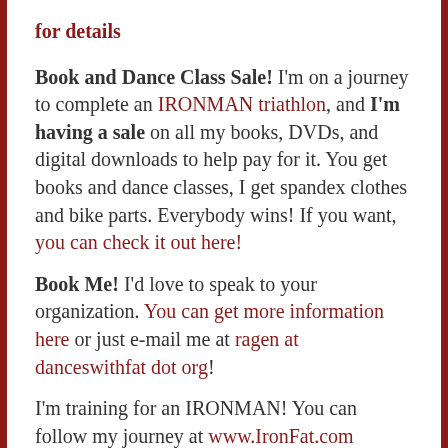for details
Book and Dance Class Sale! I'm on a journey to complete an IRONMAN triathlon, and I'm having a sale on all my books, DVDs, and digital downloads to help pay for it. You get books and dance classes, I get spandex clothes and bike parts. Everybody wins! If you want, you can check it out here!
Book Me! I'd love to speak to your organization. You can get more information here or just e-mail me at ragen at danceswithfat dot org!
I'm training for an IRONMAN! You can follow my journey at www.IronFat.com